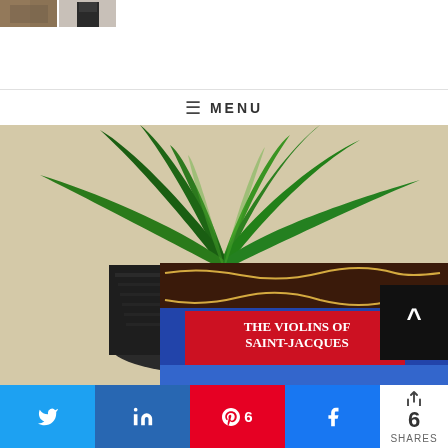[Figure (photo): Two small thumbnail images in the top left corner: first shows an orange/brown colored photo, second shows a person in dark clothing]
≡ MENU
[Figure (photo): A book titled 'The Violins of Saint-Jacques' by Patrick Leigh Fermor, set in front of a green tropical plant in a dark ceramic pot. The book has a blue cover with a red title box. The scene is photographed against a beige/tan background.]
^ (back to top button)
N (Twitter share) | in (LinkedIn share) | Pin 6 | f (Facebook share) | < 6 SHARES